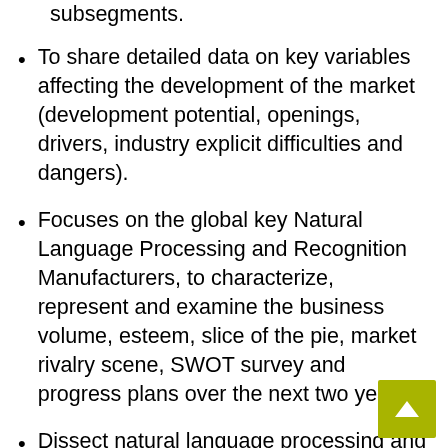subsegments.
To share detailed data on key variables affecting the development of the market (development potential, openings, drivers, industry explicit difficulties and dangers).
Focuses on the global key Natural Language Processing and Recognition Manufacturers, to characterize, represent and examine the business volume, esteem, slice of the pie, market rivalry scene, SWOT survey and progress plans over the next two years.
Dissect natural language processing and recognition regarding individual development patterns, future possibilities and their commitment to the absolute market.